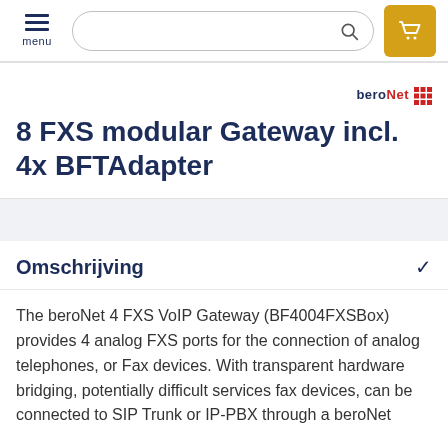menu [search bar] [cart]
[Figure (logo): beroNet logo with red grid icon on the right side]
8 FXS modular Gateway incl. 4x BFTAdapter
Omschrijving
The beroNet 4 FXS VoIP Gateway (BF4004FXSBox) provides 4 analog FXS ports for the connection of analog telephones, or Fax devices. With transparent hardware bridging, potentially difficult services fax devices, can be connected to SIP Trunk or IP-PBX through a beroNet